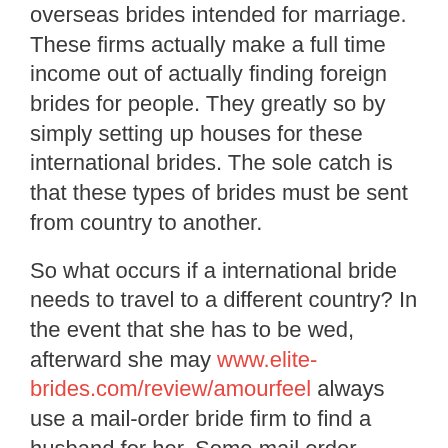overseas brides intended for marriage. These firms actually make a full time income out of actually finding foreign brides for people. They greatly so by simply setting up houses for these international brides. The sole catch is that these types of brides must be sent from country to another.
So what occurs if a international bride needs to travel to a different country? In the event that she has to be wed, afterward she may www.elite-brides.com/review/amourfeel always use a mail-order bride firm to find a husband for her. Some mail order brides even set up a home in a foreign region where your lady can experience her husband. In fact , a large number of foreign brides do choose to marry men who are already living in other countries.
Now you know what a mail buy bride is